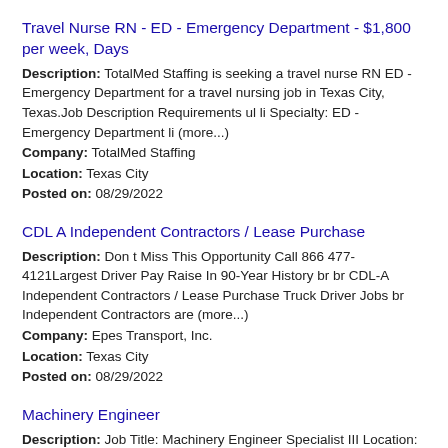Travel Nurse RN - ED - Emergency Department - $1,800 per week, Days
Description: TotalMed Staffing is seeking a travel nurse RN ED - Emergency Department for a travel nursing job in Texas City, Texas.Job Description Requirements ul li Specialty: ED - Emergency Department li (more...)
Company: TotalMed Staffing
Location: Texas City
Posted on: 08/29/2022
CDL A Independent Contractors / Lease Purchase
Description: Don t Miss This Opportunity Call 866 477-4121Largest Driver Pay Raise In 90-Year History br br CDL-A Independent Contractors / Lease Purchase Truck Driver Jobs br Independent Contractors are (more...)
Company: Epes Transport, Inc.
Location: Texas City
Posted on: 08/29/2022
Machinery Engineer
Description: Job Title: Machinery Engineer Specialist III Location: Port...